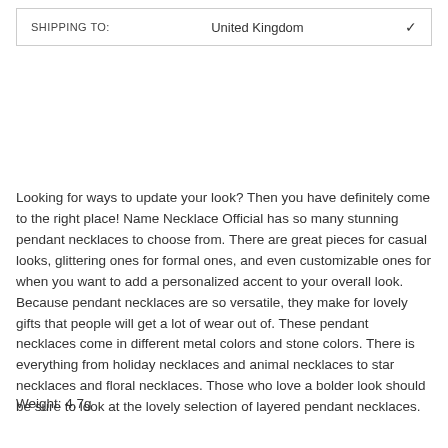SHIPPING TO:   United Kingdom
Looking for ways to update your look? Then you have definitely come to the right place! Name Necklace Official has so many stunning pendant necklaces to choose from. There are great pieces for casual looks, glittering ones for formal ones, and even customizable ones for when you want to add a personalized accent to your overall look. Because pendant necklaces are so versatile, they make for lovely gifts that people will get a lot of wear out of. These pendant necklaces come in different metal colors and stone colors. There is everything from holiday necklaces and animal necklaces to star necklaces and floral necklaces. Those who love a bolder look should be sure to look at the lovely selection of layered pendant necklaces.
Weight: 4.7g